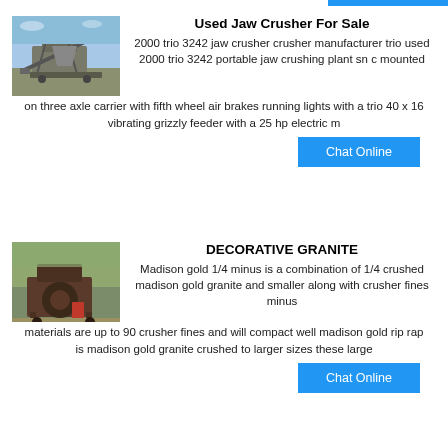[Figure (photo): Photo of a used jaw crusher machine at an industrial/quarry site with machinery and sky background]
Used Jaw Crusher For Sale
2000 trio 3242 jaw crusher crusher manufacturer trio used 2000 trio 3242 portable jaw crushing plant sn c mounted on three axle carrier with fifth wheel air brakes running lights with a trio 40 x 16 vibrating grizzly feeder with a 25 hp electric m
Chat Online
[Figure (photo): Photo of a granite crusher/decorative stone machine at an outdoor site]
DECORATIVE GRANITE
Madison gold 1/4 minus is a combination of 1/4 crushed madison gold granite and smaller along with crusher fines minus materials are up to 90 crusher fines and will compact well madison gold rip rap is madison gold granite crushed to larger sizes these large
Chat Online